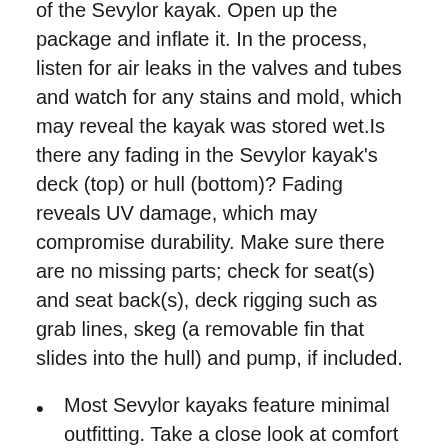of the Sevylor kayak. Open up the package and inflate it. In the process, listen for air leaks in the valves and tubes and watch for any stains and mold, which may reveal the kayak was stored wet.Is there any fading in the Sevylor kayak's deck (top) or hull (bottom)? Fading reveals UV damage, which may compromise durability. Make sure there are no missing parts; check for seat(s) and seat back(s), deck rigging such as grab lines, skeg (a removable fin that slides into the hull) and pump, if included.
Most Sevylor kayaks feature minimal outfitting. Take a close look at comfort features like the seat (is it supportive for your body type? Does it hold air?). Foot rests are critical to give you purchase on the kayak to paddle efficiently and are often absent in cheap Sevylor kayaks; if they're present, make sure they're functional